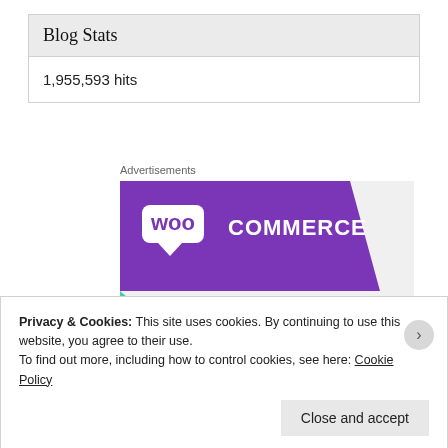Blog Stats
1,955,593 hits
Advertisements
[Figure (illustration): WooCommerce advertisement banner showing purple diagonal ribbon with WooCommerce logo (white 'woo' speech bubble and 'COMMERCE' text), teal triangle bottom-left, blue shape bottom-right, light gray background, bold black text reading 'How to start selling subscriptions online']
Privacy & Cookies: This site uses cookies. By continuing to use this website, you agree to their use.
To find out more, including how to control cookies, see here: Cookie Policy
Close and accept